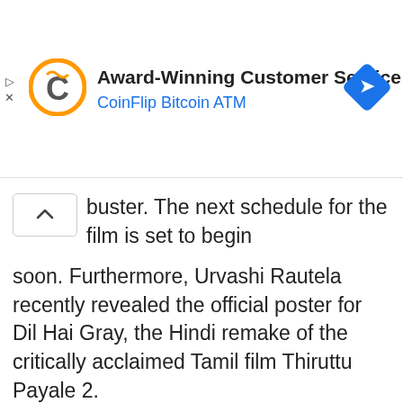[Figure (screenshot): Advertisement banner for CoinFlip Bitcoin ATM with logo, title 'Award-Winning Customer Service', subtitle 'CoinFlip Bitcoin ATM', and a blue navigation icon on the right.]
buster. The next schedule for the film is set to begin soon. Furthermore, Urvashi Rautela recently revealed the official poster for Dil Hai Gray, the Hindi remake of the critically acclaimed Tamil film Thiruttu Payale 2.
Tags: urvashi rautela   Urvashi Rautela in Michael Cinco   Urvashi rautela Instagram   Urvashi Rautela Miss Universe Dress
[Figure (screenshot): Three social share buttons: Facebook (dark blue with f icon), Twitter (light blue with bird icon), and a share/other button (gray with share icon).]